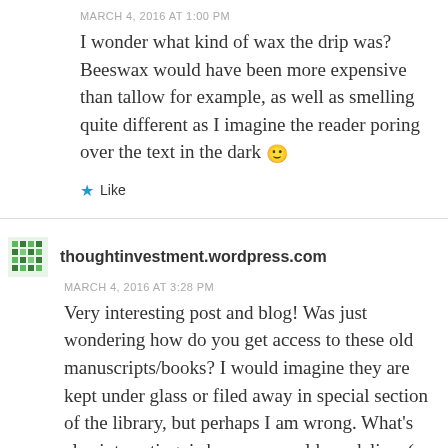MARCH 4, 2016 AT 1:00 PM
I wonder what kind of wax the drip was? Beeswax would have been more expensive than tallow for example, as well as smelling quite different as I imagine the reader poring over the text in the dark 🙂
Like
thoughtinvestment.wordpress.com
MARCH 4, 2016 AT 3:28 PM
Very interesting post and blog! Was just wondering how do you get access to these old manuscripts/books? I would imagine they are kept under glass or filed away in special section of the library, but perhaps I am wrong. What's also interesting, is how a very old vandalism (a man/guy/boy writing down his name in the book), can feel like a very interesting and valuable addition to the book itself when looked at by us nowadays.